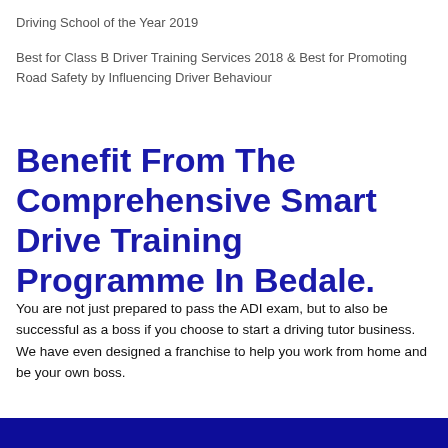Driving School of the Year 2019
Best for Class B Driver Training Services 2018 & Best for Promoting Road Safety by Influencing Driver Behaviour
Benefit From The Comprehensive Smart Drive Training Programme In Bedale.
You are not just prepared to pass the ADI exam, but to also be successful as a boss if you choose to start a driving tutor business. We have even designed a franchise to help you work from home and be your own boss.